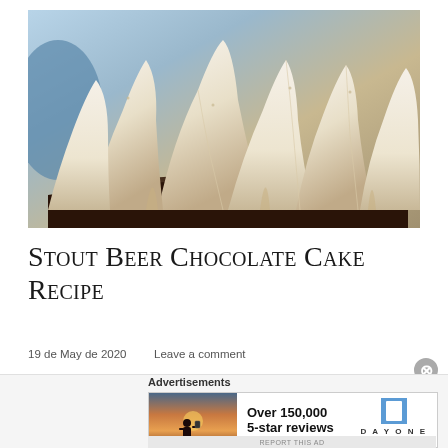[Figure (photo): Close-up photo of a chocolate cake with white meringue or cream frosting formed into large, organic flowing peaks and swirls, displayed on a plate outdoors]
Stout Beer Chocolate Cake Recipe
19 de May de 2020   Leave a comment
Advertisements
[Figure (screenshot): Advertisement for Day One Journal app showing a person photographing a sunset, with text 'Over 150,000 5-star reviews' and the Day One Journal logo]